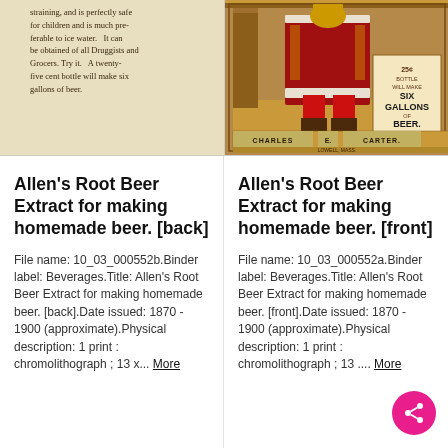[Figure (photo): Scan of back of Allen's Root Beer Extract trade card showing printed text on aged beige/tan paper]
[Figure (photo): Front of Allen's Root Beer Extract trade card showing a figure in red costume, text: CHARLES E. CARTER. LOWELL, MASS. 25ct BOTTLE WILL MAKE SIX GALLONS OF BEER]
Allen's Root Beer Extract for making homemade beer. [back]
File name: 10_03_000552b.Binder label: Beverages.Title: Allen's Root Beer Extract for making homemade beer. [back].Date issued: 1870 - 1900 (approximate).Physical description: 1 print : chromolithograph ; 13 x... More
Allen's Root Beer Extract for making homemade beer. [front]
File name: 10_03_000552a.Binder label: Beverages.Title: Allen's Root Beer Extract for making homemade beer. [front].Date issued: 1870 - 1900 (approximate).Physical description: 1 print : chromolithograph ; 13 .... More